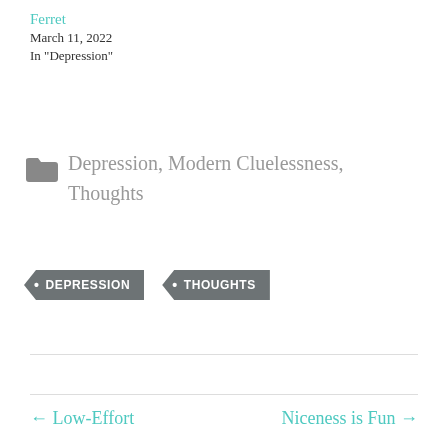Ferret
March 11, 2022
In "Depression"
Depression, Modern Cluelessness, Thoughts
• DEPRESSION
• THOUGHTS
← Low-Effort
Niceness is Fun →